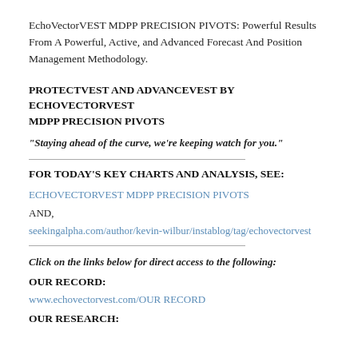EchoVectorVEST MDPP PRECISION PIVOTS: Powerful Results From A Powerful, Active, and Advanced Forecast And Position Management Methodology.
PROTECTVEST AND ADVANCEVEST BY ECHOVECTORVEST MDPP PRECISION PIVOTS
"Staying ahead of the curve, we're keeping watch for you."
FOR TODAY'S KEY CHARTS AND ANALYSIS, SEE:
ECHOVECTORVEST MDPP PRECISION PIVOTS
AND,
seekingalpha.com/author/kevin-wilbur/instablog/tag/echovectorvest
Click on the links below for direct access to the following:
OUR RECORD:
www.echovectorvest.com/OUR RECORD
OUR RESEARCH: